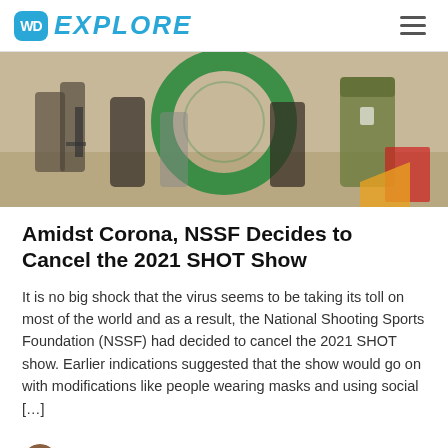WD EXPLORE
[Figure (photo): People at an indoor trade show event, with a large green ring/circle target in the center, cameras and attendees visible, military-camouflage-clad person on the right.]
Amidst Corona, NSSF Decides to Cancel the 2021 SHOT Show
It is no big shock that the virus seems to be taking its toll on most of the world and as a result, the National Shooting Sports Foundation (NSSF) had decided to cancel the 2021 SHOT show. Earlier indications suggested that the show would go on with modifications like people wearing masks and using social […]
Hunting & Tactical News | News |